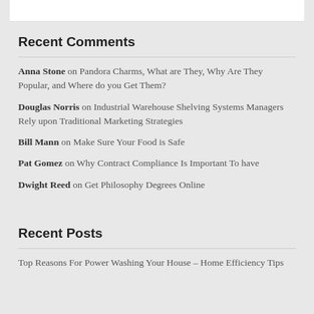Recent Comments
Anna Stone on Pandora Charms, What are They, Why Are They Popular, and Where do you Get Them?
Douglas Norris on Industrial Warehouse Shelving Systems Managers Rely upon Traditional Marketing Strategies
Bill Mann on Make Sure Your Food is Safe
Pat Gomez on Why Contract Compliance Is Important To have
Dwight Reed on Get Philosophy Degrees Online
Recent Posts
Top Reasons For Power Washing Your House – Home Efficiency Tips